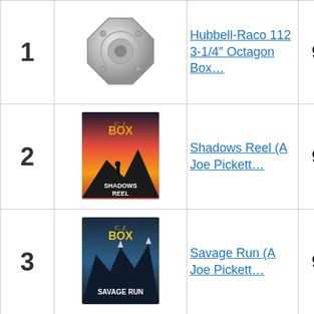| Rank | Image | Product | Score | Buy |
| --- | --- | --- | --- | --- |
| 1 | [image: octagon box] | Hubbell-Raco 112 3-1/4″ Octagon Box… | 9.70 | Buy on Amazon |
| 2 | [image: Shadows Reel book] | Shadows Reel (A Joe Pickett… | 9.25 | Buy on Amazon |
| 3 | [image: Savage Run book] | Savage Run (A Joe Pickett… | 9.40 | Buy on Amazon |